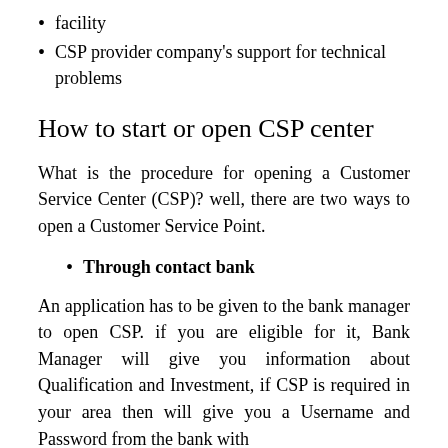facility
CSP provider company's support for technical problems
How to start or open CSP center
What is the procedure for opening a Customer Service Center (CSP)? well, there are two ways to open a Customer Service Point.
Through contact bank
An application has to be given to the bank manager to open CSP. if you are eligible for it, Bank Manager will give you information about Qualification and Investment, if CSP is required in your area then will give you a Username and Password from the bank with